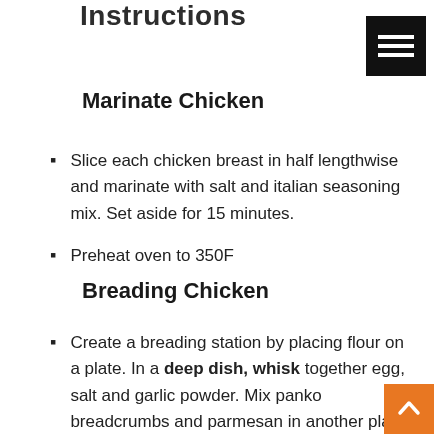Instructions
Marinate Chicken
Slice each chicken breast in half lengthwise and marinate with salt and italian seasoning mix. Set aside for 15 minutes.
Preheat oven to 350F
Breading Chicken
Create a breading station by placing flour on a plate. In a deep dish, whisk together egg, salt and garlic powder. Mix panko breadcrumbs and parmesan in another plate.